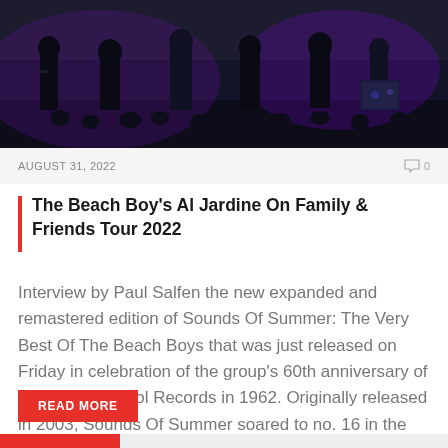[Figure (photo): Concert photo showing musicians on stage with dark background and purple stage lighting]
AUGUST 31, 2022   0
The Beach Boy's Al Jardine On Family & Friends Tour 2022
Interview by Paul Salfen the new expanded and remastered edition of Sounds Of Summer: The Very Best Of The Beach Boys that was just released on Friday in celebration of the group's 60th anniversary of signing to Capitol Records in 1962. Originally released in 2003, Sounds Of Summer soared to no. 16 in the US
READ MORE